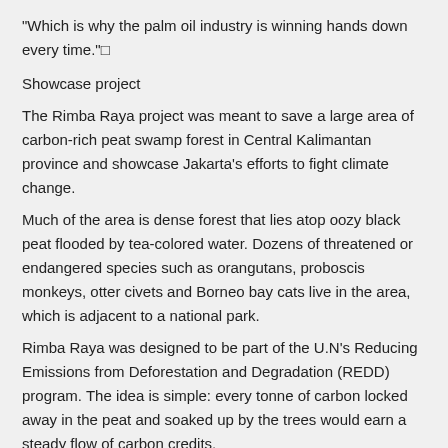"Which is why the palm oil industry is winning hands down every time."□
Showcase project
The Rimba Raya project was meant to save a large area of carbon-rich peat swamp forest in Central Kalimantan province and showcase Jakarta's efforts to fight climate change.
Much of the area is dense forest that lies atop oozy black peat flooded by tea-colored water. Dozens of threatened or endangered species such as orangutans, proboscis monkeys, otter civets and Borneo bay cats live in the area, which is adjacent to a national park.
Rimba Raya was designed to be part of the U.N's Reducing Emissions from Deforestation and Degradation (REDD) program. The idea is simple: every tonne of carbon locked away in the peat and soaked up by the trees would earn a steady flow of carbon credits.
Profit from the sale of those credits would go to project investors and partners, local communities and the Indonesian government. That would allow the project to pay its way and compete with palm oil farmers and loggers who might otherwise destroy it.